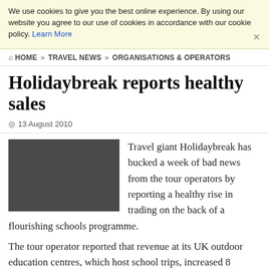We use cookies to give you the best online experience. By using our website you agree to our use of cookies in accordance with our cookie policy. Learn More
HOME » TRAVEL NEWS » ORGANISATIONS & OPERATORS
Holidaybreak reports healthy sales
13 August 2010
[Figure (photo): Dark grey/charcoal colored rectangular image placeholder, likely a photo related to Holidaybreak or outdoor education.]
Travel giant Holidaybreak has bucked a week of bad news from the tour operators by reporting a healthy rise in trading on the back of a flourishing schools programme.
The tour operator reported that revenue at its UK outdoor education centres, which host school trips, increased 8